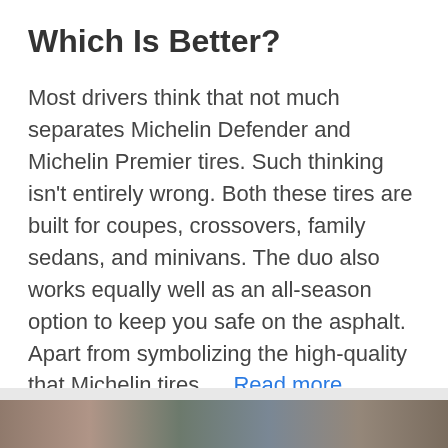Which Is Better?
Most drivers think that not much separates Michelin Defender and Michelin Premier tires. Such thinking isn't entirely wrong. Both these tires are built for coupes, crossovers, family sedans, and minivans. The duo also works equally well as an all-season option to keep you safe on the asphalt. Apart from symbolizing the high-quality that Michelin tires … Read more
[Figure (photo): Partial image visible at the bottom of the page, appears to show tires or automotive content]